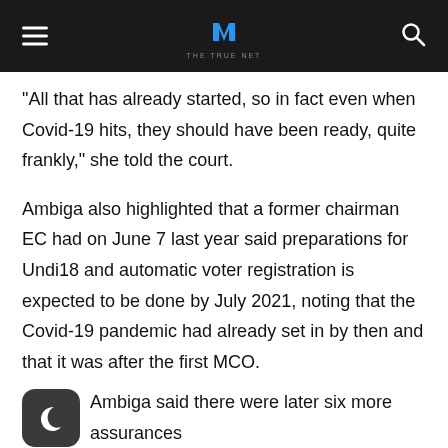THE TRUE NET
“All that has already started, so in fact even when Covid-19 hits, they should have been ready, quite frankly,” she told the court.
Ambiga also highlighted that a former chairman EC had on June 7 last year said preparations for Undi18 and automatic voter registration is expected to be done by July 2021, noting that the Covid-19 pandemic had already set in by then and that it was after the first MCO.
Ambiga said there were later six more assurances